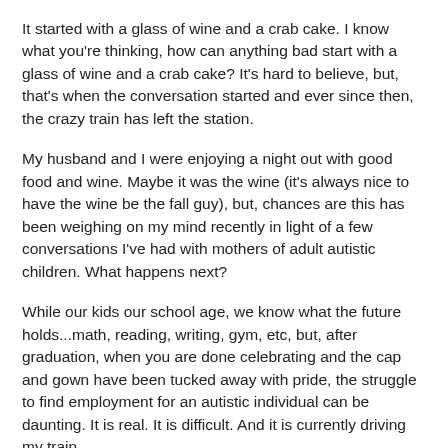It started with a glass of wine and a crab cake. I know what you're thinking, how can anything bad start with a glass of wine and a crab cake? It's hard to believe, but, that's when the conversation started and ever since then, the crazy train has left the station.
My husband and I were enjoying a night out with good food and wine. Maybe it was the wine (it's always nice to have the wine be the fall guy), but, chances are this has been weighing on my mind recently in light of a few conversations I've had with mothers of adult autistic children. What happens next?
While our kids our school age, we know what the future holds...math, reading, writing, gym, etc, but, after graduation, when you are done celebrating and the cap and gown have been tucked away with pride, the struggle to find employment for an autistic individual can be daunting. It is real. It is difficult. And it is currently driving my train.
Thirty six hours before Ryan even began high school, I looked over my glass of wine at my husband and I blurted out, "I'm worried Ryan's social struggles will prevent him from getting a job". Gulp of wine. Then